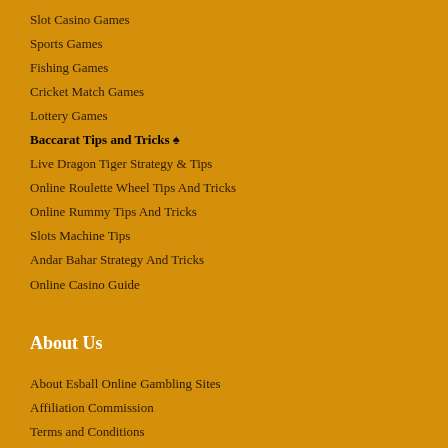Slot Casino Games
Sports Games
Fishing Games
Cricket Match Games
Lottery Games
Baccarat Tips and Tricks ♠
Live Dragon Tiger Strategy & Tips
Online Roulette Wheel Tips And Tricks
Online Rummy Tips And Tricks
Slots Machine Tips
Andar Bahar Strategy And Tricks
Online Casino Guide
About Us
About Esball Online Gambling Sites
Affiliation Commission
Terms and Conditions
Rules & Guide